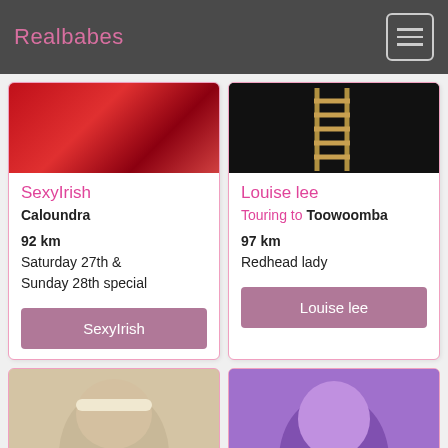Realbabes
[Figure (photo): Red-toned photo on left card]
SexyIrish
Caloundra
92 km
Saturday 27th & Sunday 28th special
SexyIrish
[Figure (photo): Dark photo with ladder shape on right card]
Louise lee
Touring to Toowoomba
97 km
Redhead lady
Louise lee
[Figure (photo): Bottom left photo of person with headband]
[Figure (photo): Bottom right photo of person in purple-toned lighting]